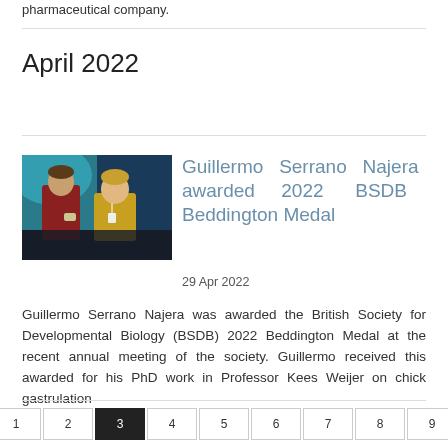pharmaceutical company.
April 2022
[Figure (photo): Two people standing together at a conference event, one holding an award/medal.]
Guillermo Serrano Najera awarded 2022 BSDB Beddington Medal
29 Apr 2022
Guillermo Serrano Najera was awarded the British Society for Developmental Biology (BSDB) 2022 Beddington Medal at the recent annual meeting of the society. Guillermo received this awarded for his PhD work in Professor Kees Weijer on chick gastrulation
« first ‹ prev 1 2 3 4 5 6 7 8 9 next › last »